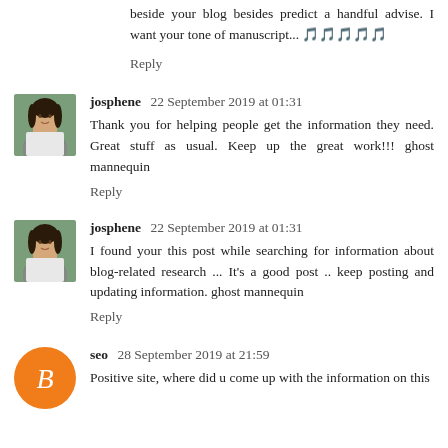beside your blog besides predict a handful advise. I want your tone of manuscript... 🎵🎵🎵🎵🎵
Reply
josphene  22 September 2019 at 01:31
Thank you for helping people get the information they need. Great stuff as usual. Keep up the great work!!! ghost mannequin
Reply
josphene  22 September 2019 at 01:31
I found your this post while searching for information about blog-related research ... It's a good post .. keep posting and updating information. ghost mannequin
Reply
seo  28 September 2019 at 21:59
Positive site, where did u come up with the information on this